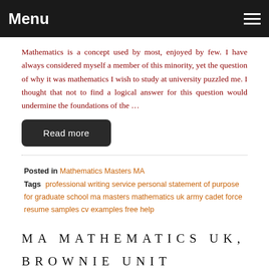Menu
Mathematics is a concept used by most, enjoyed by few. I have always considered myself a member of this minority, yet the question of why it was mathematics I wish to study at university puzzled me. I thought that not to find a logical answer for this question would undermine the foundations of the …
Read more
Posted in Mathematics Masters MA
Tags professional writing service personal statement of purpose for graduate school ma masters mathematics uk army cadet force resume samples cv examples free help
MA MATHEMATICS UK, BROWNIE UNIT VOLUNTEER